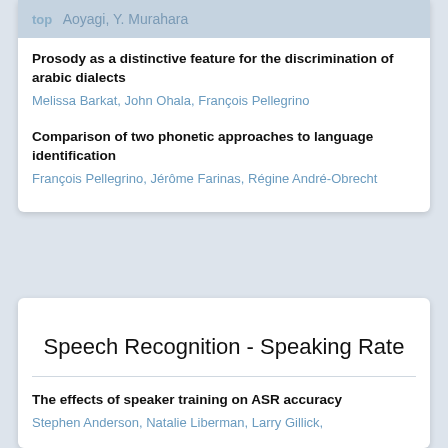top  Aoyagi, Y. Murahara
Prosody as a distinctive feature for the discrimination of arabic dialects
Melissa Barkat, John Ohala, François Pellegrino
Comparison of two phonetic approaches to language identification
François Pellegrino, Jérôme Farinas, Régine André-Obrecht
Speech Recognition - Speaking Rate
The effects of speaker training on ASR accuracy
Stephen Anderson, Natalie Liberman, Larry Gillick,